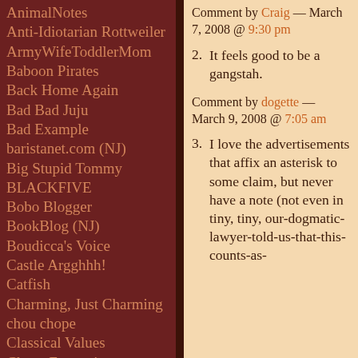AnimalNotes
Anti-Idiotarian Rottweiler
ArmyWifeToddlerMom
Baboon Pirates
Back Home Again
Bad Bad Juju
Bad Example
baristanet.com (NJ)
Big Stupid Tommy
BLACKFIVE
Bobo Blogger
BookBlog (NJ)
Boudicca's Voice
Castle Argghhh!
Catfish
Charming, Just Charming
chou chope
Classical Values
Closet Extremist
Coalition of the Swilling (NJ)
Compass Points (NJ)
Confabulation
Cootiehog (NJ)
Cripes, Suzette (NJ)
Comment by Craig — March 7, 2008 @ 9:30 pm
2. It feels good to be a gangstah.
Comment by dogette — March 9, 2008 @ 7:05 am
3. I love the advertisements that affix an asterisk to some claim, but never have a note (not even in tiny, tiny, our-dogmatic-lawyer-told-us-that-this-counts-as-